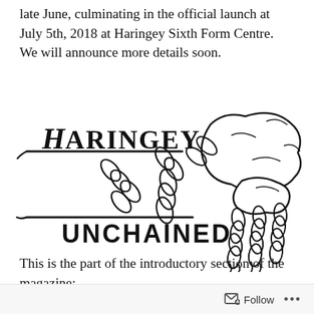late June, culminating in the official launch at July 5th, 2018 at Haringey Sixth Form Centre. We will announce more details soon.
[Figure (illustration): Hand-drawn illustration showing the text 'HARINGEY UNCHAINED' with chains and rocks, forming the logo of the Haringey Unchained magazine.]
This is the part of the introductory section of the magazine:
Follow ...